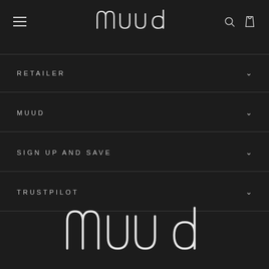[Figure (logo): muud brand logo in white thin lettering on dark background, top navigation bar with hamburger menu, search icon, and bag icon]
RETAILER
MUUD
SIGN UP AND SAVE
TRUSTPILOT
[Figure (logo): muud brand logo large white thin lettering on dark background at bottom of page]